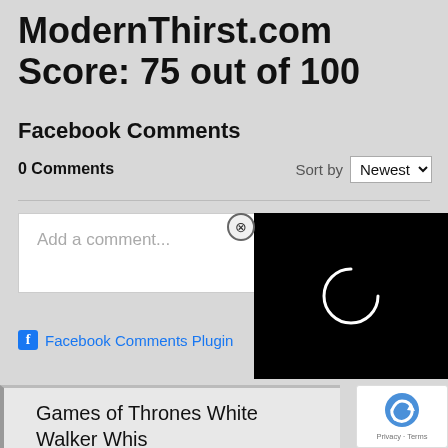ModernThirst.com Score: 75 out of 100
Facebook Comments
0 Comments
Sort by Newest
[Figure (screenshot): Facebook comment input box with placeholder text 'Add a comment...' and a black loading overlay with a spinner, plus a close (X) button]
Facebook Comments Plugin
Games of Thrones White Walker Whis by Johnnie Walker
[Figure (logo): Google reCAPTCHA badge with logo, Privacy and Terms text]